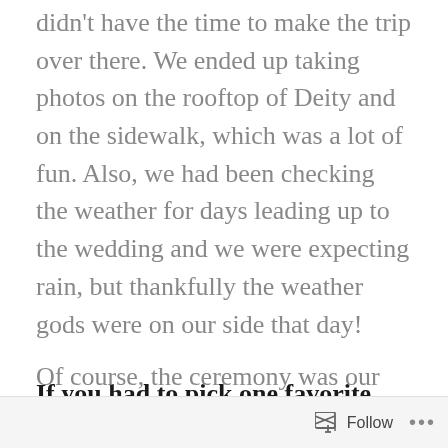didn't have the time to make the trip over there. We ended up taking photos on the rooftop of Deity and on the sidewalk, which was a lot of fun. Also, we had been checking the weather for days leading up to the wedding and we were expecting rain, but thankfully the weather gods were on our side that day!
If you had to pick one favorite memory from that day what would that be?(okay maybe two I know it's hard to choose)
Of course, the ceremony was our
Follow ...